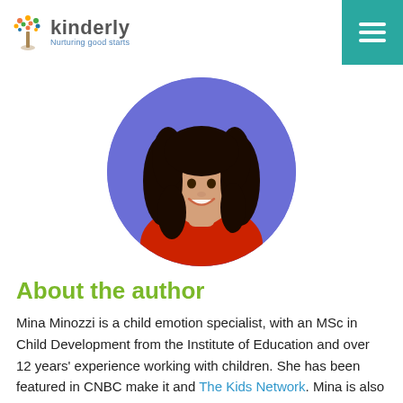kinderly — Nurturing good starts
[Figure (photo): Circular profile photo of Mina Minozzi, a woman with long curly dark hair, wearing a red top, against a purple/blue circular background]
About the author
Mina Minozzi is a child emotion specialist, with an MSc in Child Development from the Institute of Education and over 12 years' experience working with children. She has been featured in CNBC make it and The Kids Network. Mina is also an international children's author, having written four books on emotional intelligence. Mina's mission is to make emotional intelligence part of the curriculum so that child...